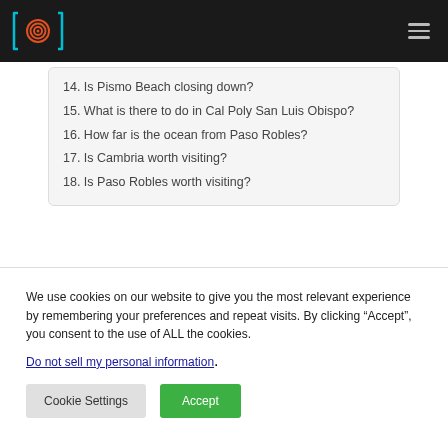Logo and navigation header
14. Is Pismo Beach closing down?
15. What is there to do in Cal Poly San Luis Obispo?
16. How far is the ocean from Paso Robles?
17. Is Cambria worth visiting?
18. Is Paso Robles worth visiting?
We use cookies on our website to give you the most relevant experience by remembering your preferences and repeat visits. By clicking “Accept”, you consent to the use of ALL the cookies.
Do not sell my personal information.